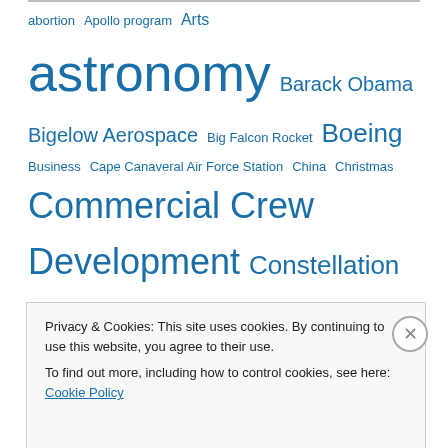abortion Apollo program Arts astronomy Barack Obama Bigelow Aerospace Big Falcon Rocket Boeing Business Cape Canaveral Air Force Station China Christmas Commercial Crew Development Constellation program Cowboy Logic Publishing Donald Trump Dragon Dragon (spacecraft) Earth Earthquake Elon Musk Enceladus European Space Agency Facebook Falcon 9 Falcon Heavy Freedom Google Hubble Space Telescope International Space Station Internation Space Station
Privacy & Cookies: This site uses cookies. By continuing to use this website, you agree to their use.
To find out more, including how to control cookies, see here: Cookie Policy
Close and accept